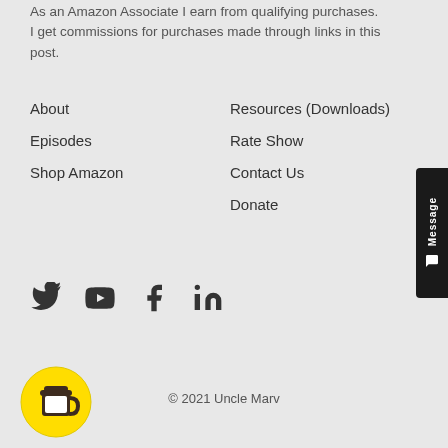As an Amazon Associate I earn from qualifying purchases. I get commissions for purchases made through links in this post.
About
Episodes
Shop Amazon
Resources (Downloads)
Rate Show
Contact Us
Donate
[Figure (illustration): Social media icons: Twitter, YouTube, Facebook, LinkedIn]
© 2021 Uncle Marv
[Figure (logo): Buy Me a Coffee yellow circular button with coffee cup icon]
[Figure (other): Message tab button on right side, dark background with 'Message' text rotated vertically]